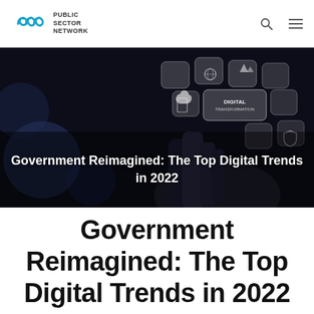PUBLIC SECTOR NETWORK
[Figure (photo): Hero banner image showing a hand touching digital transformation icons floating in the air, with dark background. Text overlay reads: Government Reimagined: The Top Digital Trends in 2022]
Government Reimagined: The Top Digital Trends in 2022